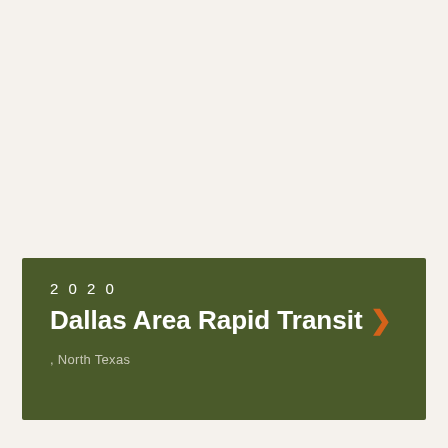2020 Dallas Area Rapid Transit > , North Texas